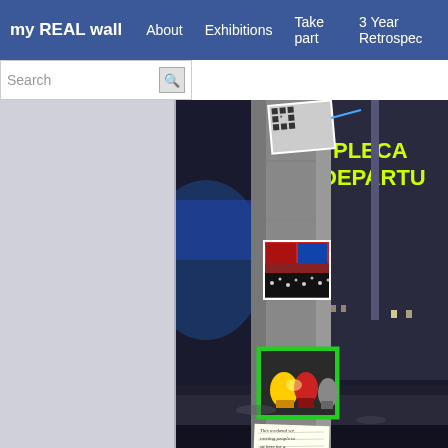my REAL wall   About   Exhibitions   Take part   3 Year Retrospe...
[Figure (screenshot): Website screenshot showing navigation bar with 'my REAL wall' branding in blue, menu items About, Exhibitions, Take part, 3 Year Retrospe..., a search bar on the left sidebar, and a main photograph of a concrete column/pillar at night with several printed photos and notes attached to it. In the background a building with illuminated sign reading 'PLECA... DEPARTU...' is visible.]